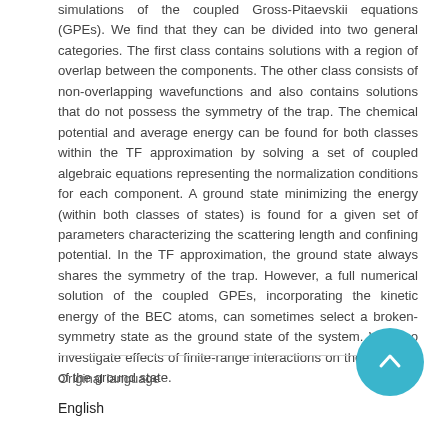simulations of the coupled Gross-Pitaevskii equations (GPEs). We find that they can be divided into two general categories. The first class contains solutions with a region of overlap between the components. The other class consists of non-overlapping wavefunctions and also contains solutions that do not possess the symmetry of the trap. The chemical potential and average energy can be found for both classes within the TF approximation by solving a set of coupled algebraic equations representing the normalization conditions for each component. A ground state minimizing the energy (within both classes of states) is found for a given set of parameters characterizing the scattering length and confining potential. In the TF approximation, the ground state always shares the symmetry of the trap. However, a full numerical solution of the coupled GPEs, incorporating the kinetic energy of the BEC atoms, can sometimes select a broken-symmetry state as the ground state of the system. We also investigate effects of finite-range interactions on the structure of the ground state.
Original language
English